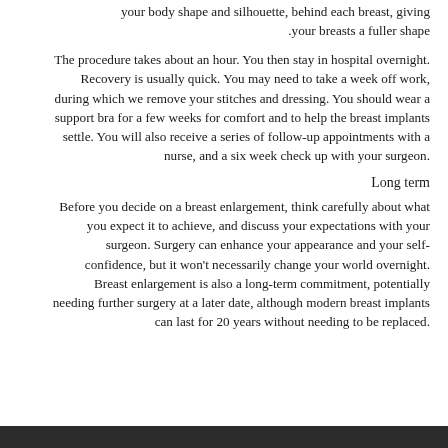your body shape and silhouette, behind each breast, giving your breasts a fuller shape.
The procedure takes about an hour. You then stay in hospital overnight. Recovery is usually quick. You may need to take a week off work, during which we remove your stitches and dressing. You should wear a support bra for a few weeks for comfort and to help the breast implants settle. You will also receive a series of follow-up appointments with a nurse, and a six week check up with your surgeon.
Long term
Before you decide on a breast enlargement, think carefully about what you expect it to achieve, and discuss your expectations with your surgeon. Surgery can enhance your appearance and your self-confidence, but it won't necessarily change your world overnight. Breast enlargement is also a long-term commitment, potentially needing further surgery at a later date, although modern breast implants can last for 20 years without needing to be replaced.